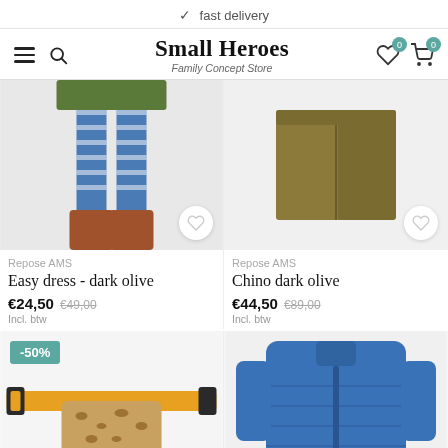✓ fast delivery
Small Heroes — Family Concept Store
[Figure (photo): Product photo: legs of child wearing blue striped leggings and brown boots on grey background]
Repose AMS
Easy dress - dark olive
€24,50  €49,00  Incl. btw
[Figure (photo): Product photo: olive/khaki chino pants folded on white background]
Repose AMS
Chino dark olive
€44,50  €89,00  Incl. btw
[Figure (photo): Product photo: yellow/ochre belt bag with leopard print pouch]
-50%
[Figure (photo): Product photo: blue quilted jacket/shirt on white background]